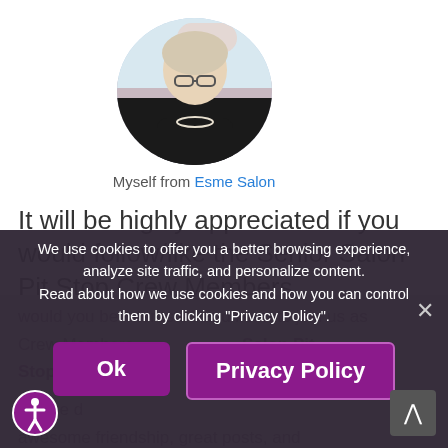[Figure (photo): Circular profile photo of an older woman with short grey hair, glasses, dark top, pearl necklace, against a sky background]
Myself from Esme Salon
It will be highly appreciated if you would follow/like the Senior Salon Pit Stop Crew Members.
would you be interested and keen to join us as Crew Members... Salon Pit Stop for more d...
We use cookies to offer you a better browsing experience, analyze site traffic, and personalize content. Read about how we use cookies and how you can control them by clicking "Privacy Policy".
Ok
Privacy Policy